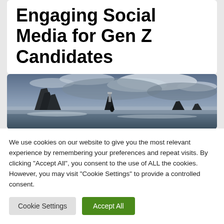Engaging Social Media for Gen Z Candidates
[Figure (photo): Dramatic seascape with dark rocky sea stacks and a lighthouse silhouetted against stormy clouds and misty waves]
We use cookies on our website to give you the most relevant experience by remembering your preferences and repeat visits. By clicking "Accept All", you consent to the use of ALL the cookies. However, you may visit "Cookie Settings" to provide a controlled consent.